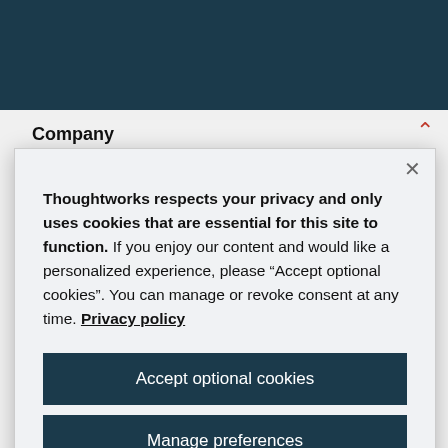Company
Thoughtworks respects your privacy and only uses cookies that are essential for this site to function. If you enjoy our content and would like a personalized experience, please “Accept optional cookies”. You can manage or revoke consent at any time. Privacy policy
Accept optional cookies
Manage preferences